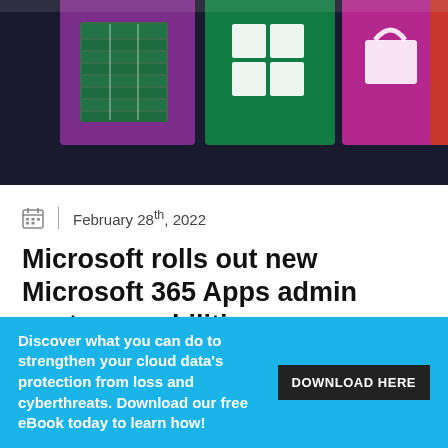[Figure (photo): Colorful Microsoft Windows tiles on a screen: purple Excel icon, green Windows/Store icon, pink/purple icon, red/orange icon partially visible. Close-up, blurred background.]
February 28th, 2022
Microsoft rolls out new Microsoft 365 Apps admin center capabilities
The pandemic has expedited cloud migration timelines, and IT administrators have had to
Discover what you can do to strengthen your cloud data's protection from loss and cyberthreats. Download our free eBook today to learn how!   DOWNLOAD HERE